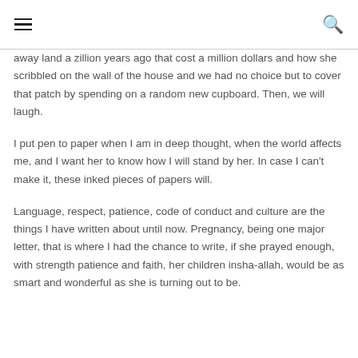away land a zillion years ago that cost a million dollars and how she scribbled on the wall of the house and we had no choice but to cover that patch by spending on a random new cupboard. Then, we will laugh.
I put pen to paper when I am in deep thought, when the world affects me, and I want her to know how I will stand by her. In case I can't make it, these inked pieces of papers will.
Language, respect, patience, code of conduct and culture are the things I have written about until now. Pregnancy, being one major letter, that is where I had the chance to write, if she prayed enough, with strength patience and faith, her children insha-allah, would be as smart and wonderful as she is turning out to be.